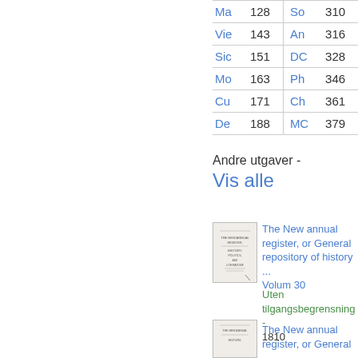| Label | Page | Label | Page |
| --- | --- | --- | --- |
| Ma | 128 | So | 310 |
| Vie | 143 | An | 316 |
| Sic | 151 | DC | 328 |
| Mo | 163 | Ph | 346 |
| Cu | 171 | Ch | 361 |
| De | 188 | MC | 379 |
Andre utgaver - Vis alle
[Figure (illustration): Thumbnail of book cover for The New annual register, or General repository of history, Volum 30]
The New annual register, or General repository of history ... Volum 30
Uten tilgangsbegrensning - 1810
[Figure (illustration): Thumbnail of book cover for The New annual register, or General repository]
The New annual register, or General